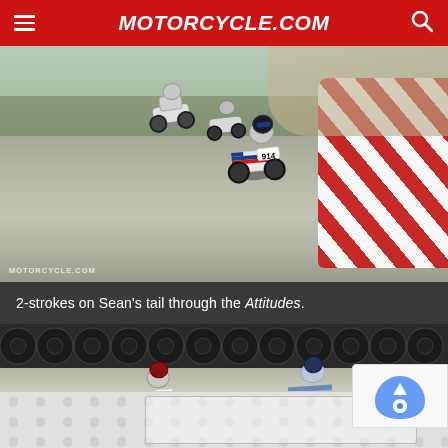MOTORCYCLE.COM
[Figure (photo): Motorcycle racers on a track, two-stroke bikes following racer #914 through the Attitudes corner. Red and white curbing visible on the right. MOTORCYCLE.COM watermark bottom left.]
2-strokes on Sean's tail through the Attitudes.
[Figure (photo): Motorcycle racers leaning through a corner at a racetrack, tire wall barrier visible in background. Racer with #54 visible on a red and white bike.]
[Figure (other): reCAPTCHA widget partially visible in bottom right corner.]
[Figure (other): Advertisement banner with dot pattern background at bottom of page.]